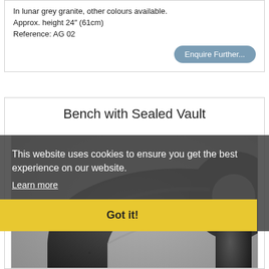In lunar grey granite, other colours available.
Approx. height 24" (61cm)
Reference: AG 02
Enquire Further...
Bench with Sealed Vault
[Figure (photo): Close-up photo of a dark granite bench component showing a curved arm or handle piece with cylindrical post, in charcoal/black textured stone.]
This website uses cookies to ensure you get the best experience on our website.
Learn more
Got it!